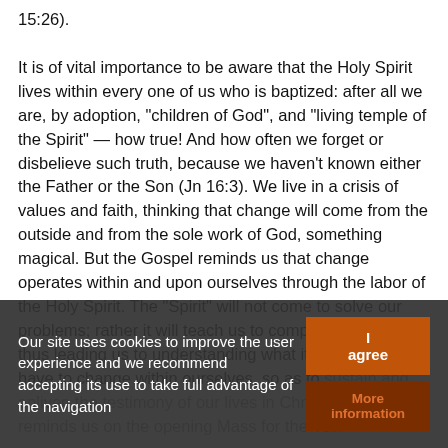15:26). It is of vital importance to be aware that the Holy Spirit lives within every one of us who is baptized: after all we are, by adoption, "children of God", and "living temple of the Spirit" — how true! And how often we forget or disbelieve such truth, because we haven't known either the Father or the Son (Jn 16:3). We live in a crisis of values and faith, thinking that change will come from the outside and from the sole work of God, something magical. But the Gospel reminds us that change operates within and upon ourselves through the labor of the Holy Spirit. The "Spirit" will not come to solve our problems; rather it will teach us to comprehend them, thus leading us to understanding what it is that we really have to change within ourselves, so as to sustain and enliven the testimony of our lives in Christ. Benedict XVI reminds us on the opening Mass for the Year of Faith, that it depends on the...
Our site uses cookies to improve the user experience and we recommend accepting its use to take full advantage of the navigation